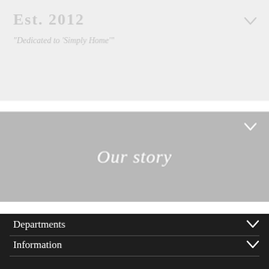Est. 2012
Dedicated to 'Simply Home'
Our story
Departments
Information
Follow us